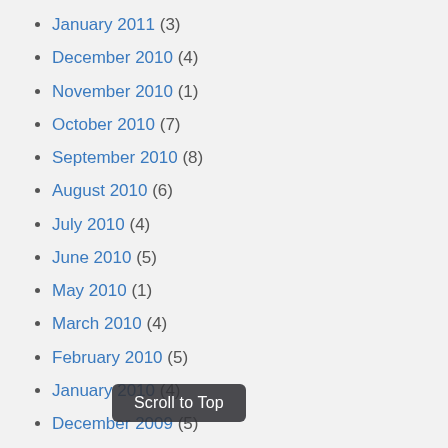January 2011 (3)
December 2010 (4)
November 2010 (1)
October 2010 (7)
September 2010 (8)
August 2010 (6)
July 2010 (4)
June 2010 (5)
May 2010 (1)
March 2010 (4)
February 2010 (5)
January 2010 (4)
December 2009 (5)
November 2009 (5)
October 2009 (2)
September 2009 (3)
August 2009 (5)
July 2009
Scroll to Top